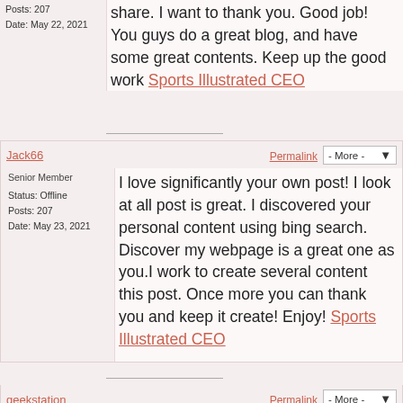Posts: 207
Date: May 22, 2021
share. I want to thank you. Good job! You guys do a great blog, and have some great contents. Keep up the good work Sports Illustrated CEO
Jack66
Permalink
- More -
Senior Member
Status: Offline
Posts: 207
Date: May 23, 2021
I love significantly your own post! I look at all post is great. I discovered your personal content using bing search. Discover my webpage is a great one as you.I work to create several content this post. Once more you can thank you and keep it create! Enjoy! Sports Illustrated CEO
geekstation
Permalink
- More -